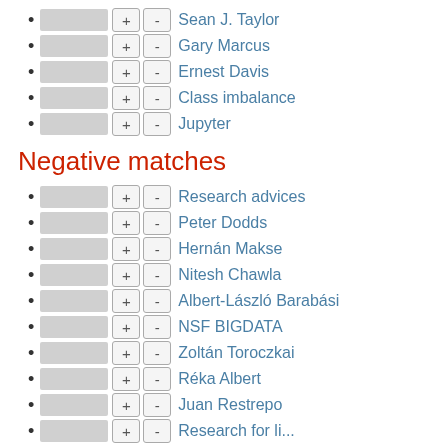Sean J. Taylor
Gary Marcus
Ernest Davis
Class imbalance
Jupyter
Negative matches
Research advices
Peter Dodds
Hernán Makse
Nitesh Chawla
Albert-László Barabási
NSF BIGDATA
Zoltán Toroczkai
Réka Albert
Juan Restrepo
Research for li...